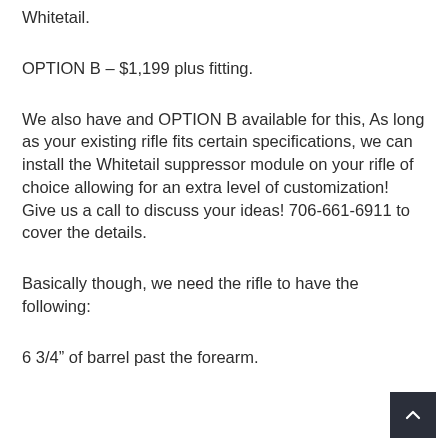Whitetail.
OPTION B – $1,199 plus fitting.
We also have and OPTION B available for this, As long as your existing rifle fits certain specifications, we can install the Whitetail suppressor module on your rifle of choice allowing for an extra level of customization! Give us a call to discuss your ideas! 706-661-6911 to cover the details.
Basically though, we need the rifle to have the following:
6 3/4" of barrel past the forearm.